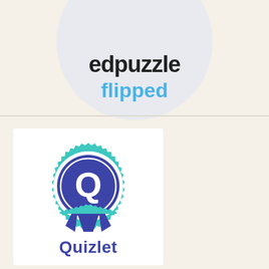[Figure (logo): Edpuzzle logo in a light gray circle: bold black text 'edpuzzle' and blue text 'flipped' below it]
[Figure (logo): Quizlet logo: a blue award ribbon badge with a Q letter mark and the word 'Quizlet' in bold blue text below]